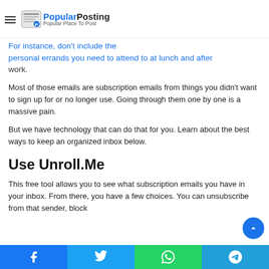Popular Posting — Popular Place To Post
For instance, don't include the personal errands you need to attend to at lunch and after work.
Most of those emails are subscription emails from things you didn't want to sign up for or no longer use. Going through them one by one is a massive pain.
But we have technology that can do that for you. Learn about the best ways to keep an organized inbox below.
Use Unroll.Me
This free tool allows you to see what subscription emails you have in your inbox. From there, you have a few choices. You can unsubscribe from that sender, block
Facebook | Twitter | WhatsApp | Telegram